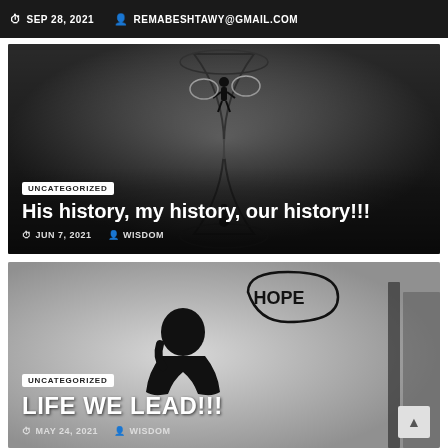SEP 28, 2021   REMABESHTAWY@GMAIL.COM
[Figure (illustration): Black and white image of a person standing inside an hourglass silhouette with speech bubble clouds]
UNCATEGORIZED
His history, my history, our history!!!
JUN 7, 2021   WISDOM
[Figure (illustration): Black and white stylized image of a man thinking with a thought bubble reading HOPE]
UNCATEGORIZED
LIFE WE LEAD!!!
MAY 24, 2021   WISDOM